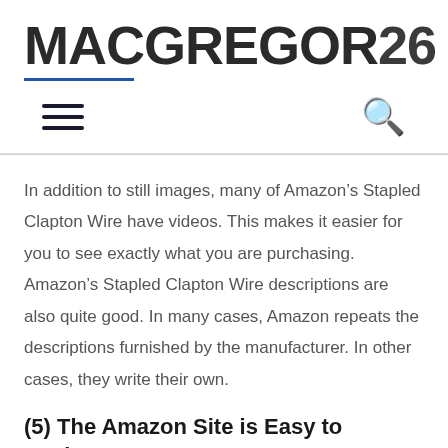[Figure (logo): MacGregor26 logo with bold sans-serif text and a blue underline beneath 'MacGregor']
In addition to still images, many of Amazon's Stapled Clapton Wire have videos. This makes it easier for you to see exactly what you are purchasing. Amazon's Stapled Clapton Wire descriptions are also quite good. In many cases, Amazon repeats the descriptions furnished by the manufacturer. In other cases, they write their own.
(5) The Amazon Site is Easy to Navigate